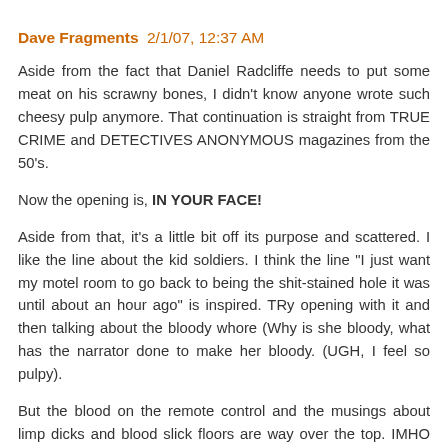Dave Fragments  2/1/07, 12:37 AM
Aside from the fact that Daniel Radcliffe needs to put some meat on his scrawny bones, I didn't know anyone wrote such cheesy pulp anymore. That continuation is straight from TRUE CRIME and DETECTIVES ANONYMOUS magazines from the 50's.
Now the opening is, IN YOUR FACE!
Aside from that, it's a little bit off its purpose and scattered. I like the line about the kid soldiers. I think the line "I just want my motel room to go back to being the shit-stained hole it was until about an hour ago" is inspired. TRy opening with it and then talking about the bloody whore (Why is she bloody, what has the narrator done to make her bloody. (UGH, I feel so pulpy).
But the blood on the remote control and the musings about limp dicks and blood slick floors are way over the top. IMHO the author needs to focus on the narrator and his